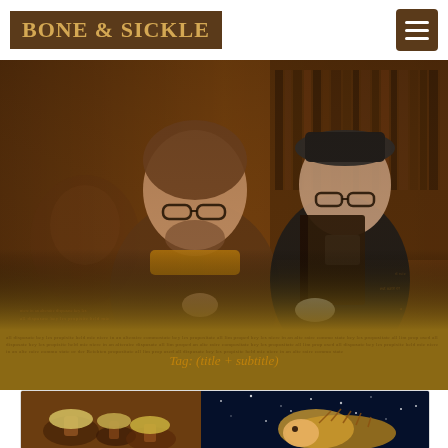BONE & SICKLE
[Figure (photo): Two people posed in a vintage library setting with old books and manuscript text overlay. On the left, an older man with glasses, beard, wearing a scarf, leaning on a cane. On the right, a woman in black with glasses and a white cravat, reading a dark book. Sepia/warm brown tones with manuscript watermarks in background.]
Tag: (title/subtitle text over parchment background — partially visible)
[Figure (photo): Bottom panel showing two thumbnail images: left image shows mushrooms on warm brown background; right image shows what appears to be a hedgehog or small animal against a blue starry background.]